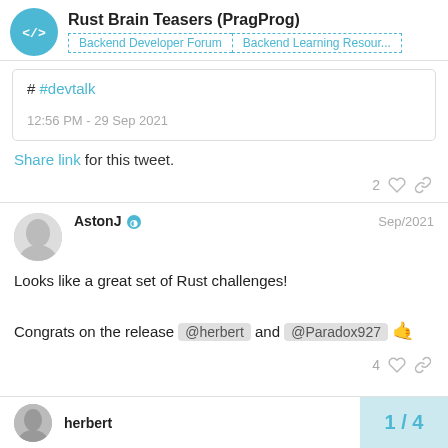Rust Brain Teasers (PragProg) | Backend Developer Forum | Backend Learning Resour...
# #devtalk
12:56 PM - 29 Sep 2021
Share link for this tweet.
2 ♡ 🔗
AstonJ ◑  Sep/2021
Looks like a great set of Rust challenges!

Congrats on the release @herbert and @Paradox927 👍
4 ♡ 🔗
herbert
1 / 4